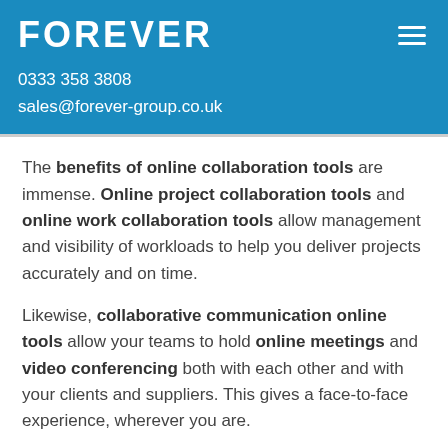FOREVER
0333 358 3808
sales@forever-group.co.uk
The benefits of online collaboration tools are immense. Online project collaboration tools and online work collaboration tools allow management and visibility of workloads to help you deliver projects accurately and on time.
Likewise, collaborative communication online tools allow your teams to hold online meetings and video conferencing both with each other and with your clients and suppliers. This gives a face-to-face experience, wherever you are.
The best online collaboration tools are those that are